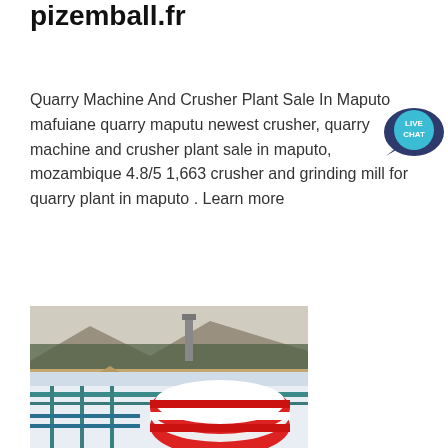pizemball.fr
Quarry Machine And Crusher Plant Sale In Maputo mafuiane quarry maputu newest crusher, quarry machine and crusher plant sale in maputo, mozambique 4.8/5 1,663 crusher and grinding mill for quarry plant in maputo . Learn more
[Figure (photo): Aerial view of a quarry crushing plant with conveyor belts, piles of stone/sand, trees and industrial structures in background, hazy sky]
[Figure (photo): Interior industrial facility with large cylindrical equipment in red and white, metal railings and teal/green structural elements]